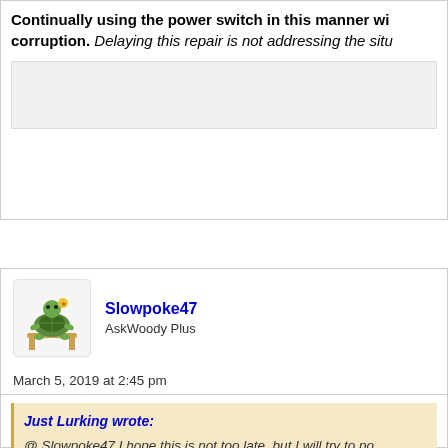Continually using the power switch in this manner will cause corruption. Delaying this repair is not addressing the situ…
March 5, 2019 at 2:45 pm
Slowpoke47
AskWoody Plus
Just Lurking wrote:
@ Slowpoke47 I hope this is not too late, but I will try to po… the Rush? It sounds like the only problem you have right n… usable work around of holding down the power button. Yo… primary need was to able to boot Win7. Now, it's I have to … fashion. You are at risk of loosing all ability to boot Win7! D… understanding of what you're doing, the risk(s) involved, a… go very wrong. I don't think you are properly prepared yet … entering a wrong command, or having the software do som…